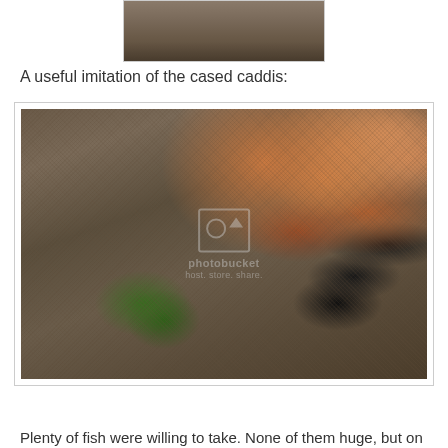[Figure (photo): Partial view of a fishing fly or natural insect on a surface — top portion cut off, showing brown textured material on a rocky/natural background]
A useful imitation of the cased caddis:
[Figure (photo): Close-up photograph of a cased caddis fly imitation (fishing fly) made with brown dubbing/fur, green bead head, black beads, and copper/amber beads on the back, lying on a grey surface. Photobucket watermark visible in the center.]
Plenty of fish were willing to take. None of them huge, but on